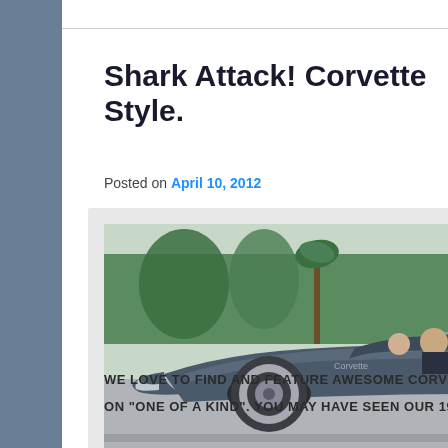Shark Attack! Corvette Style.
Posted on April 10, 2012
[Figure (photo): 1961 Chevrolet Corvette Mako Shark convertible driving on a road, with a golf cart and black car visible in the background, green trees and grass behind.]
— 1961 Chevrolet Corvette Mako Shark
WE LOVE TO FIND AND FEATURE AWESOME CORVETTES ON "ONE OF A KIND". YOU MAY HAVE SEEN OUR 1957